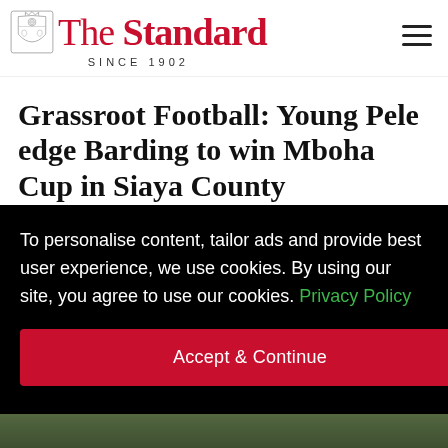The Standard — SINCE 1902
Grassroot Football: Young Pele edge Barding to win Mboha Cup in Siaya County
To personalise content, tailor ads and provide best user experience, we use cookies. By using our site, you agree to use our cookies. Privacy Policy
Accept & Continue
[Figure (photo): Bottom strip showing grass/football pitch]